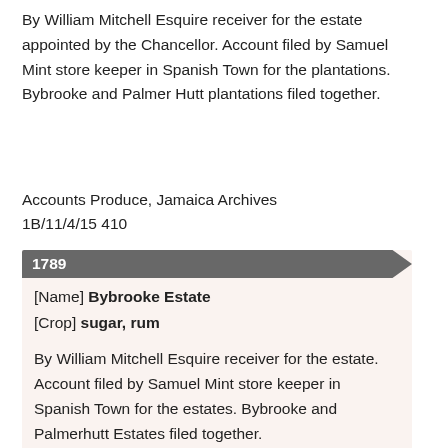By William Mitchell Esquire receiver for the estate appointed by the Chancellor. Account filed by Samuel Mint store keeper in Spanish Town for the plantations. Bybrooke and Palmer Hutt plantations filed together.
Accounts Produce, Jamaica Archives
1B/11/4/15 410
1789
[Name] Bybrooke Estate
[Crop] sugar, rum
By William Mitchell Esquire receiver for the estate. Account filed by Samuel Mint store keeper in Spanish Town for the estates. Bybrooke and Palmerhutt Estates filed together.
Accounts Produce, Jamaica Archives